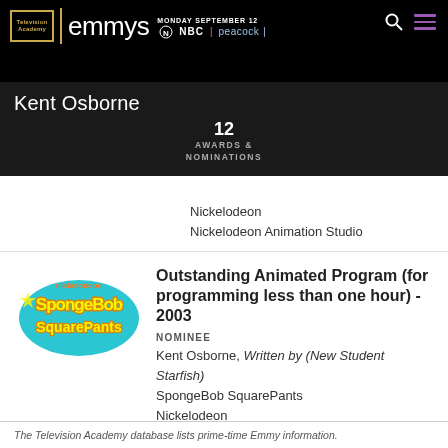Television Academy | emmys | MONDAY SEPTEMBER 12 NBC | peacock
Kent Osborne
12
AWARDS & NOMINATIONS
Nickelodeon
Nickelodeon Animation Studio
Outstanding Animated Program (for programming less than one hour) - 2003
NOMINEE
Kent Osborne, Written by (New Student Starfish)
SpongeBob SquarePants
Nickelodeon
Nickelodeon Animation Studio
The Television Academy database lists prime-time Emmy information.